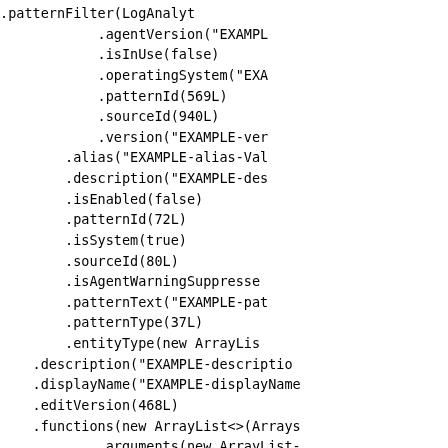.patternFilter(LogAnalyt...
            .agentVersion("EXAMPL
            .isInUse(false)
            .operatingSystem("EXA
            .patternId(569L)
            .sourceId(940L)
            .version("EXAMPLE-ver
        .alias("EXAMPLE-alias-Val
        .description("EXAMPLE-des
        .isEnabled(false)
        .patternId(72L)
        .isSystem(true)
        .sourceId(80L)
        .isAgentWarningSuppresse
        .patternText("EXAMPLE-pa
        .patternType(37L)
        .entityType(new ArrayLis
    .description("EXAMPLE-descriptio
    .displayName("EXAMPLE-displayName
    .editVersion(468L)
    .functions(new ArrayList<>(Arrays
            .arguments(new ArrayList-